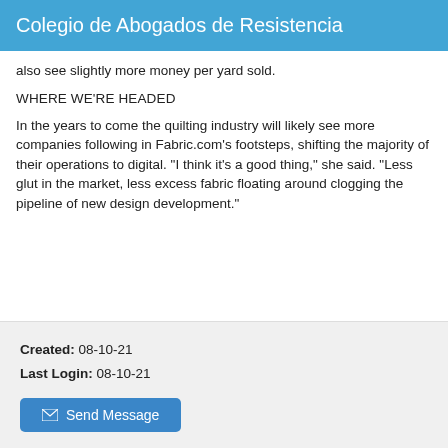Colegio de Abogados de Resistencia
also see slightly more money per yard sold.
WHERE WE'RE HEADED
In the years to come the quilting industry will likely see more companies following in Fabric.com's footsteps, shifting the majority of their operations to digital. "I think it's a good thing," she said. "Less glut in the market, less excess fabric floating around clogging the pipeline of new design development."
Created: 08-10-21
Last Login: 08-10-21
✉ Send Message